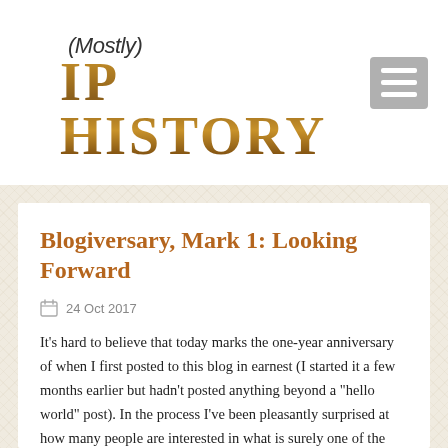(Mostly) IP HISTORY
Blogiversary, Mark 1: Looking Forward
24 Oct 2017
It’s hard to believe that today marks the one-year anniversary of when I first posted to this blog in earnest (I started it a few months earlier but hadn’t posted anything beyond a “hello world” post). In the process I’ve been pleasantly surprised at how many people are interested in what is surely one of the more